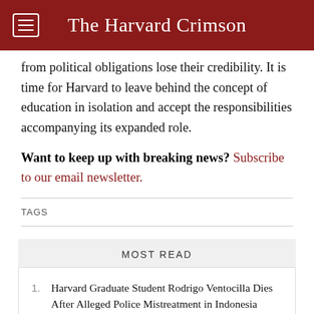The Harvard Crimson
from political obligations lose their credibility. It is time for Harvard to leave behind the concept of education in isolation and accept the responsibilities accompanying its expanded role.
Want to keep up with breaking news? Subscribe to our email newsletter.
TAGS
MOST READ
Harvard Graduate Student Rodrigo Ventocilla Dies After Alleged Police Mistreatment in Indonesia